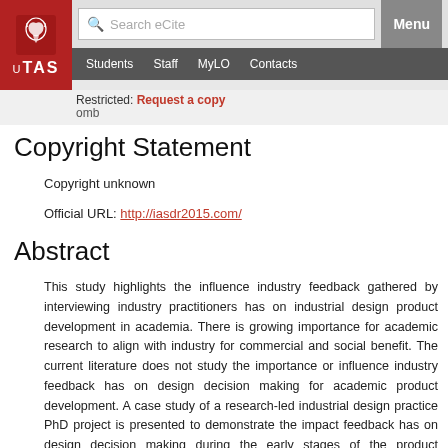UTAS header with search bar, Menu button, and navigation: Students, Staff, MyLO, Contacts
Restricted: Request a copy
omb
Copyright Statement
Copyright unknown
Official URL: http://iasdr2015.com/
Abstract
This study highlights the influence industry feedback gathered by interviewing industry practitioners has on industrial design product development in academia. There is growing importance for academic research to align with industry for commercial and social benefit. The current literature does not study the importance or influence industry feedback has on design decision making for academic product development. A case study of a research-led industrial design practice PhD project is presented to demonstrate the impact feedback has on design decision making during the early stages of the product development process. A key reason for industry feedback on